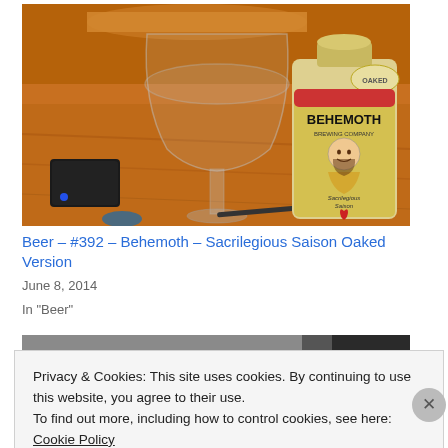[Figure (photo): A beer glass and a Behemoth Brewing Company Sacrilegious Saison bottle on a wooden table, with a small black device with blue LED light visible on the left.]
Beer – #392 – Behemoth – Sacrilegious Saison Oaked Version
June 8, 2014
In "Beer"
[Figure (photo): Partial second photo, partially obscured by cookie banner.]
Privacy & Cookies: This site uses cookies. By continuing to use this website, you agree to their use.
To find out more, including how to control cookies, see here: Cookie Policy
Close and accept